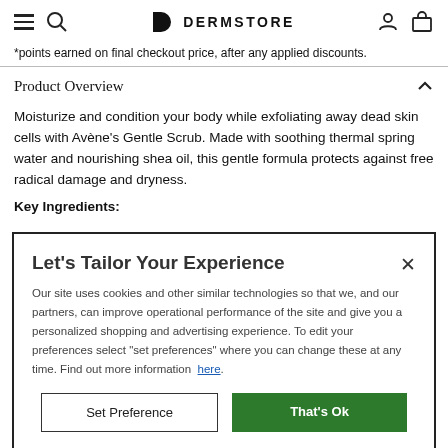Dermstore
*points earned on final checkout price, after any applied discounts.
Product Overview
Moisturize and condition your body while exfoliating away dead skin cells with Avène's Gentle Scrub. Made with soothing thermal spring water and nourishing shea oil, this gentle formula protects against free radical damage and dryness.
Key Ingredients:
Let's Tailor Your Experience
Our site uses cookies and other similar technologies so that we, and our partners, can improve operational performance of the site and give you a personalized shopping and advertising experience. To edit your preferences select "set preferences" where you can change these at any time. Find out more information here.